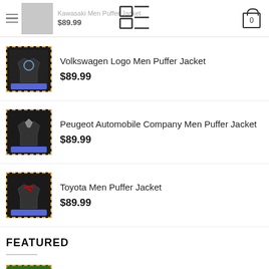Kawasaki Men Puffer Jacket – $89.99
Volkswagen Logo Men Puffer Jacket – $89.99
Peugeot Automobile Company Men Puffer Jacket – $89.99
Toyota Men Puffer Jacket – $89.99
FEATURED
Santana Corazón Album Cover Gift Shirt